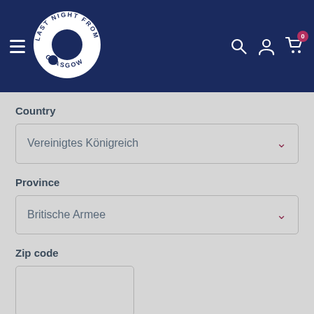[Figure (logo): Last Night From Glasgow circular logo in white on navy header, with hamburger menu, search, account, and cart (0) icons]
Country
Vereinigtes Königreich
Province
Britische Armee
Zip code